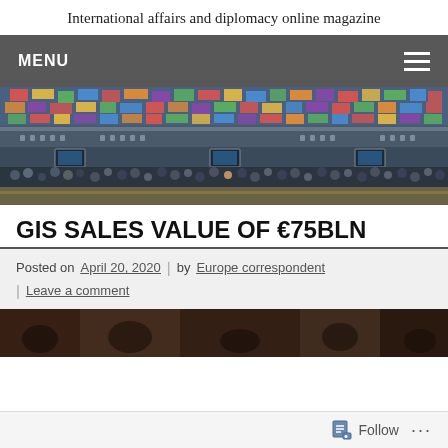International affairs and diplomacy online magazine
MENU
[Figure (photo): Wide-angle interior shot of a large circular conference room with a colorful illuminated ceiling and delegates seated at tables]
GIS SALES VALUE OF €75BLN
Posted on April 20, 2020 | by Europe correspondent | Leave a comment
[Figure (photo): Partial view of a second photo strip at the bottom of the article]
Follow ...